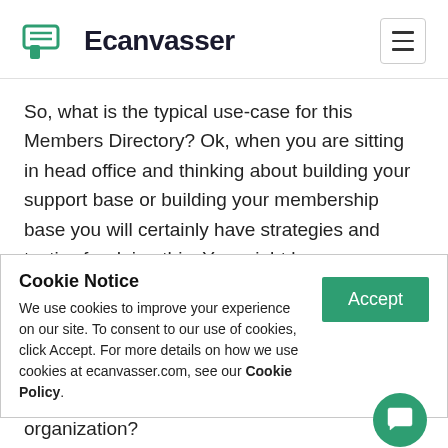Ecanvasser
So, what is the typical use-case for this Members Directory? Ok, when you are sitting in head office and thinking about building your support base or building your membership base you will certainly have strategies and tactics for doing this. You might have a recruitment drive or you might be running a campaign to get people to sign up to your cause. That is great
Cookie Notice
We use cookies to improve your experience on our site. To consent to our use of cookies, click Accept. For more details on how we use cookies at ecanvasser.com, see our Cookie Policy.
they have that might be of value to your organization?